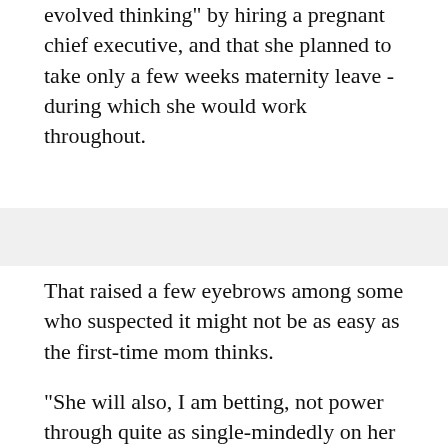evolved thinking" by hiring a pregnant chief executive, and that she planned to take only a few weeks maternity leave - during which she would work throughout.
That raised a few eyebrows among some who suspected it might not be as easy as the first-time mom thinks.
"She will also, I am betting, not power through quite as single-mindedly on her maternity leave as she thinks she will," wrote Lisa Belkin on her Huffington Post blog.
Many speculated that, like other working moms, Mayer would find her attentions and energies